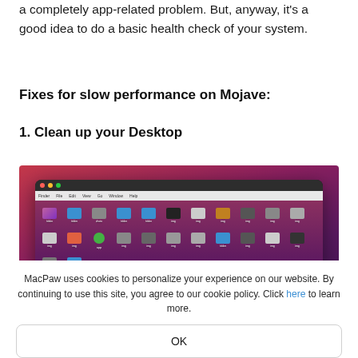a completely app-related problem. But, anyway, it's a good idea to do a basic health check of your system.
Fixes for slow performance on Mojave:
1. Clean up your Desktop
[Figure (screenshot): Screenshot of a cluttered macOS Mojave desktop with many icons and files scattered across the desktop background.]
MacPaw uses cookies to personalize your experience on our website. By continuing to use this site, you agree to our cookie policy. Click here to learn more.
OK